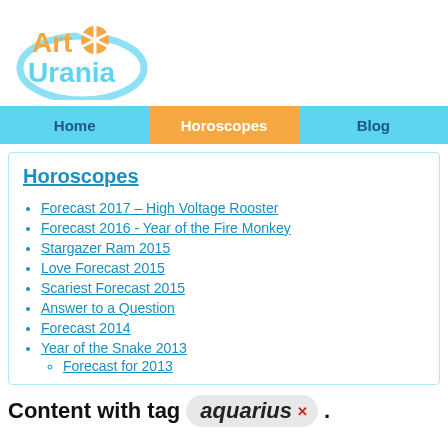[Figure (logo): Art Urania logo with orange sun/asterisk symbol and blue swirl, orange 'Art' text and teal 'Urania' text]
Home | Horoscopes | Blog
Horoscopes
Forecast 2017 – High Voltage Rooster
Forecast 2016 - Year of the Fire Monkey
Stargazer Ram 2015
Love Forecast 2015
Scariest Forecast 2015
Answer to a Question
Forecast 2014
Year of the Snake 2013
Forecast for 2013
Content with tag aquarius .